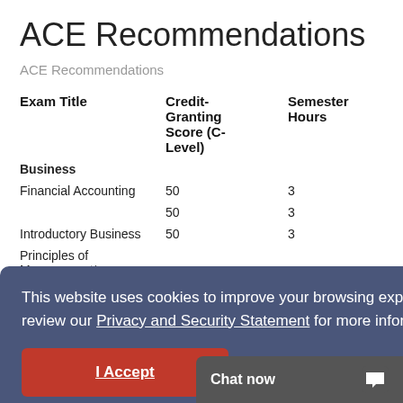ACE Recommendations
ACE Recommendations
| Exam Title | Credit-Granting Score (C-Level) | Semester Hours |
| --- | --- | --- |
| Business |  |  |
| Financial Accounting | 50 | 3 |
|  | 50 | 3 |
| Introductory Business | 50 | 3 |
| Principles of Management* |  |  |
This website uses cookies to improve your browsing experience. Please review our Privacy and Security Statement for more information.
I Accept
Chat now